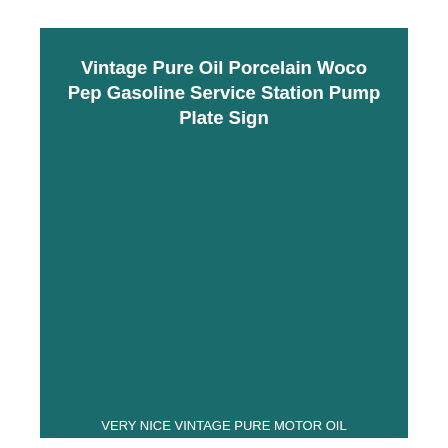Vintage Pure Oil Porcelain Woco Pep Gasoline Service Station Pump Plate Sign
VERY NICE VINTAGE PURE MOTOR OIL PORCELAIN SIGN. SEE IMAGES FOR BEST DESCRIPTION. THIS WILL DISPLAY NICELY ANYWHERE!
PUMP PLATE, AND SERVICE STATION SIGNS! This item is in the category "Collectibles\Advertising\Gas & Oil\Merchandise & Memorabilia\Signs".